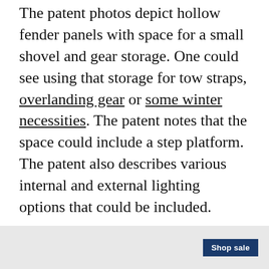The patent photos depict hollow fender panels with space for a small shovel and gear storage. One could see using that storage for tow straps, overlanding gear or some winter necessities. The patent notes that the space could include a step platform. The patent also describes various internal and external lighting options that could be included.
The drawings show a Ford Flex-like vehicle; however, the patent filing came days before the Bronco's public launch in July 2020, which could explain Ford not using a Bronco for the illustration. (One of the boxy panels drawings is
[Figure (other): Advertisement banner at bottom of page with 'Shop sale' button on dark blue background, set against a light grey bar.]